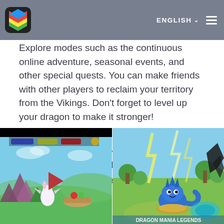ENGLISH
Explore modes such as the continuous online adventure, seasonal events, and other special quests. You can make friends with other players to reclaim your territory from the Vikings. Don’t forget to level up your dragon to make it stronger!
Can you defeat the Vikings? Now’s the time to find out! Download Dragon Mania Legends on PC to play this exciting and challenging simulation adventure game!
[Figure (screenshot): Game screenshot of Dragon Mania Legends showing a cute white dragon character on a colorful 3D landscape with rocks and plants, with a play button overlay and game UI at top]
[Figure (screenshot): Game screenshot of Dragon Mania Legends showing a blue spiky dragon hatchling on a grassy field with lightning effects and trees in the background]